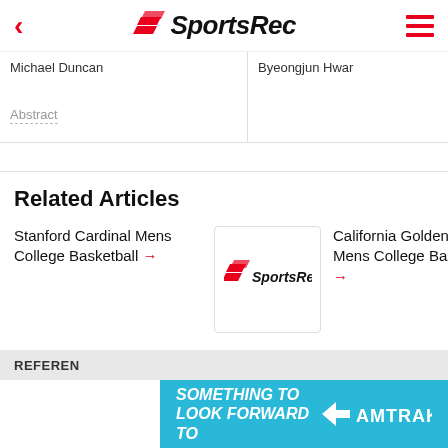SportsRec
Michael Duncan
Byeongjun Hwar
Abstract
Related Articles
Stanford Cardinal Mens College Basketball →
[Figure (logo): SportsRec logo thumbnail]
California Golden Bears Mens College Basketball →
[Figure (logo): SportsRec logo thumbnail (partially visible)]
REFERENCES
[Figure (logo): Amtrak advertisement banner — SOMETHING TO LOOK FORWARD TO]